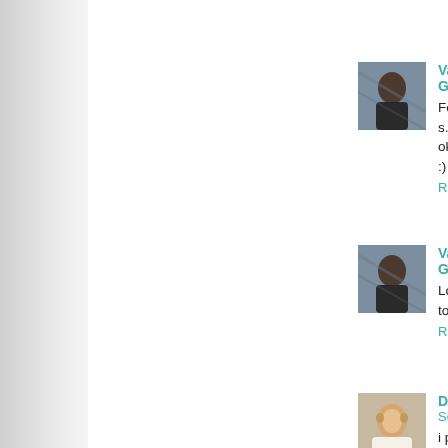[Figure (photo): Avatar photo of Vanessa, comment 1]
Vanessa @ Gourme...
Follow/obsessively s... ok?
:)
Reply
[Figure (photo): Avatar photo of Vanessa, comment 2]
Vanessa @ Gourme...
Love you on FB too!
Reply
[Figure (photo): Avatar photo of DEM]
DEM  30 September...
i put this guy up on th...
Reply
[Figure (photo): Avatar photo of jessica kiehn]
jessica kiehn  30 Se...
i follow your blog! LC...
Reply